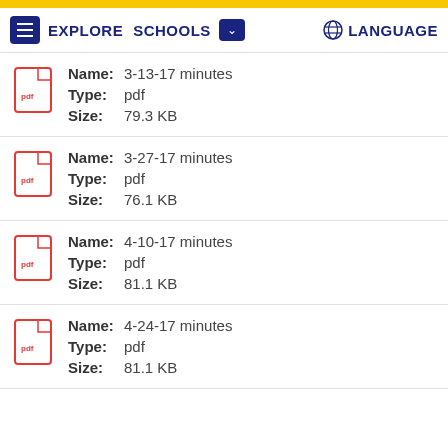EXPLORE  SCHOOLS  LANGUAGE
Name: 3-13-17 minutes
Type: pdf
Size: 79.3 KB
Name: 3-27-17 minutes
Type: pdf
Size: 76.1 KB
Name: 4-10-17 minutes
Type: pdf
Size: 81.1 KB
Name: 4-24-17 minutes
Type: pdf
Size: 81.1 KB